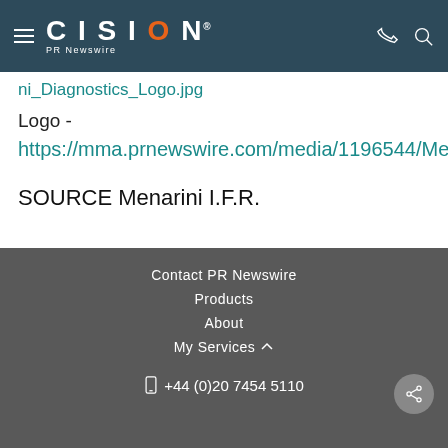CISION PR Newswire
ni_Diagnostics_Logo.jpg
Logo -
https://mma.prnewswire.com/media/1196544/Menarini_Diagnostics_Logo.jpg
SOURCE Menarini I.F.R.
Contact PR Newswire
Products
About
My Services
+44 (0)20 7454 5110